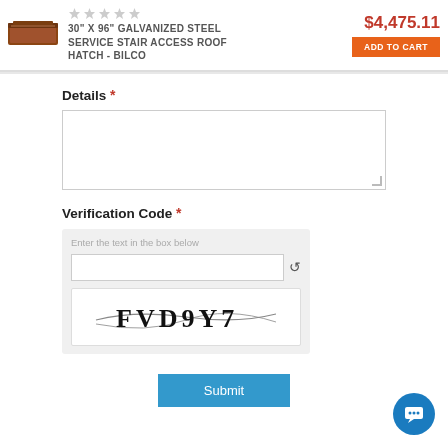[Figure (photo): Product image of galvanized steel roof hatch]
30" X 96" GALVANIZED STEEL SERVICE STAIR ACCESS ROOF HATCH - BILCO
$4,475.11
ADD TO CART
Details *
(empty textarea)
Verification Code *
Enter the text in the box below
[Figure (other): CAPTCHA image showing text FVD9Y7 with decorative lines through it]
Submit